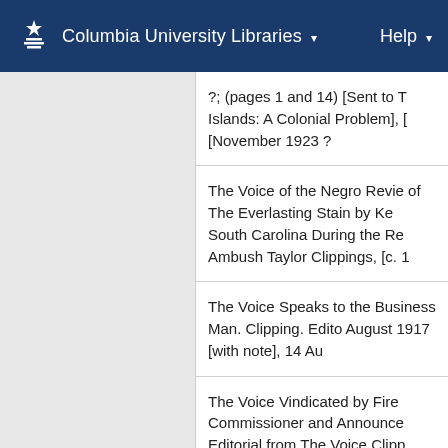Columbia University Libraries  ▾    Help ▾
?; (pages 1 and 14) [Sent to The Islands: A Colonial Problem], [November 1923 ?
The Voice of the Negro Review of The Everlasting Stain by Ke South Carolina During the Rec Ambush Taylor Clippings, [c. 1
The Voice Speaks to the Business Man. Clipping. Edito August 1917 [with note], 14 Au
The Voice Vindicated by Fire Commissioner and Announcer Editorial from The Voice Clippi [with note], 12 September 191